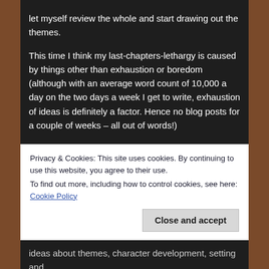let myself review the whole and start drawing out the themes.

This time I think my last-chapters-lethargy is caused by things other than exhaustion or boredom (although with an average word count of 10,000 a day on the two days a week I get to write, exhaustion of ideas is definitely a factor. Hence no blog posts for a couple of weeks – all out of words!)

Firstly I've already closed out the love story and written the final scene. A mistake, but an unavoidable one. The final scene presented itself while I was walking the dog (see next post) and I never look gift words in the mouth.
Privacy & Cookies: This site uses cookies. By continuing to use this website, you agree to their use.
To find out more, including how to control cookies, see here: Cookie Policy
Close and accept
ideas about themes, character development, setting and